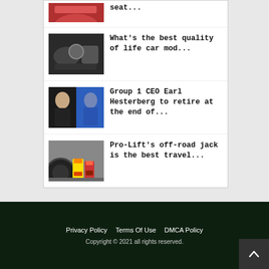[Figure (photo): Partial view of red car top, cropped at top of page]
seat...
[Figure (photo): Car interior showing steering wheel and dashboard]
What's the best quality of life car mod...
[Figure (photo): Two men at what appears to be a business event, one in foreground]
Group 1 CEO Earl Hesterberg to retire at the end of...
[Figure (photo): Pro-Lift off-road jack cans next to tire]
Pro-Lift's off-road jack is the best travel...
Privacy Policy   Terms Of Use   DMCA Policy
Copyright © 2021 all rights reserved.